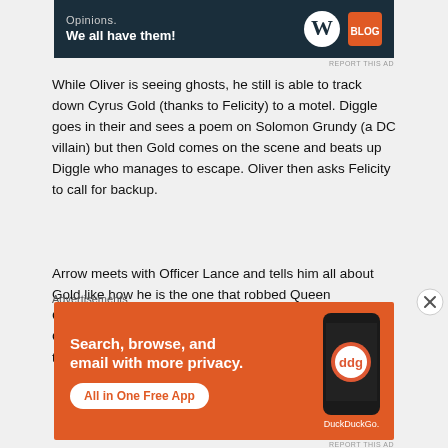[Figure (other): Dark navy advertisement banner for WordPress/Blog.com with text 'Opinions. We all have them!' and logos]
REPORT THIS AD
While Oliver is seeing ghosts, he still is able to track down Cyrus Gold (thanks to Felicity) to a motel. Diggle goes in their and sees a poem on Solomon Grundy (a DC villain) but then Gold comes on the scene and beats up Diggle who manages to escape. Oliver then asks Felicity to call for backup.
Arrow meets with Officer Lance and tells him all about Gold like how he is the one that robbed Queen Consolidated and the blood bank. He warns Lance that Gold is dangerous and freakishly strong so don't hesitate to kill him. When Lance says why he doesn't go
Advertisements
[Figure (other): Orange DuckDuckGo advertisement banner with text 'Search, browse, and email with more privacy. All in One Free App' and phone image with DuckDuckGo logo]
REPORT THIS AD